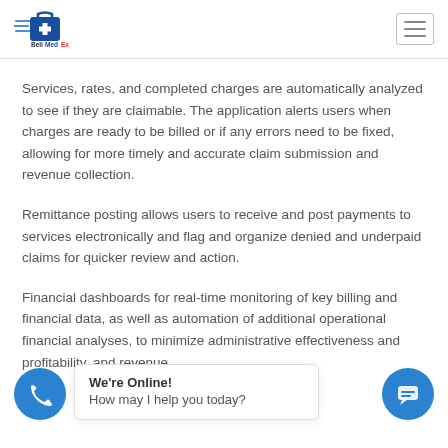[Figure (logo): BellMedEx logo — briefcase with cross and speed lines, text 'BellMedEx']
Services, rates, and completed charges are automatically analyzed to see if they are claimable. The application alerts users when charges are ready to be billed or if any errors need to be fixed, allowing for more timely and accurate claim submission and revenue collection.
Remittance posting allows users to receive and post payments to services electronically and flag and organize denied and underpaid claims for quicker review and action.
Financial dashboards for real-time monitoring of key billing and financial data, as well as automation of additional operational financial analyses, to minimize administrative effectiveness and profitability, and revenue